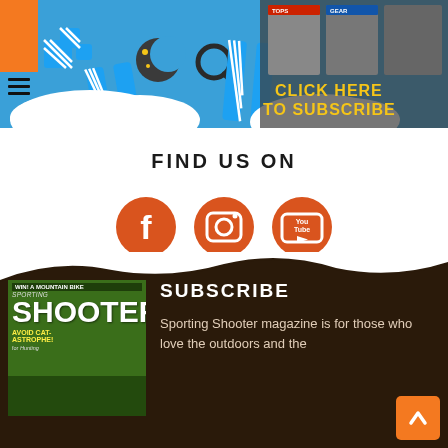[Figure (screenshot): Website banner with blue sky background, social media icons (hamburger menu, Twitter bird, globe, search), cloud shapes, magazine covers on the right with 'CLICK HERE TO SUBSCRIBE' text in yellow]
FIND US ON
[Figure (infographic): Three orange circular social media icons: Facebook (f), Instagram (camera), YouTube (play button with 'You Tube' text)]
[Figure (infographic): Dark brown section with wavy top edge containing SUBSCRIBE heading and magazine cover of Sporting Shooter]
SUBSCRIBE
Sporting Shooter magazine is for those who love the outdoors and the